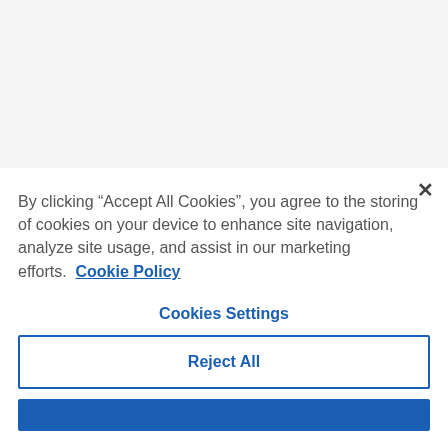[Figure (screenshot): Grayed out background content area at top of page]
By clicking “Accept All Cookies”, you agree to the storing of cookies on your device to enhance site navigation, analyze site usage, and assist in our marketing efforts.  Cookie Policy
Cookies Settings
Reject All
Accept All Cookies (partially visible)